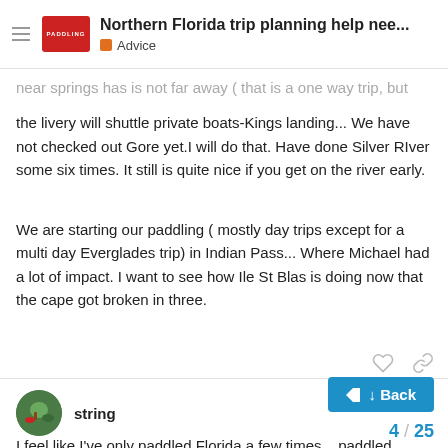Northern Florida trip planning help nee... | Advice
...near springs has is not far away ( that is a one way trip, but the livery will shuttle private boats-Kings landing... We have not checked out Gore yet.I will do that. Have done Silver RIver some six times. It still is quite nice if you get on the river early.
We are starting our paddling ( mostly day trips except for a multi day Everglades trip) in Indian Pass... Where Michael had a lot of impact. I want to see how Ile St Blas is doing now that the cape got broken in three.
string Jan '19
I feel like I've only paddled Florida a few times... paddled many on your list.